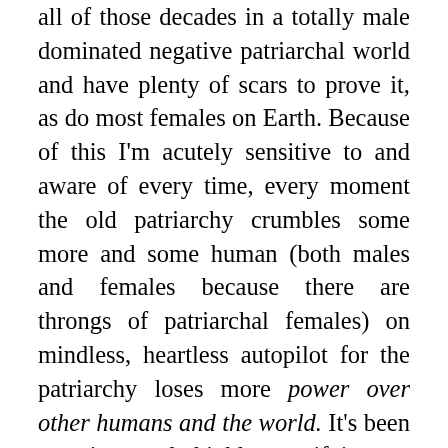all of those decades in a totally male dominated negative patriarchal world and have plenty of scars to prove it, as do most females on Earth. Because of this I'm acutely sensitive to and aware of every time, every moment the old patriarchy crumbles some more and some human (both males and females because there are throngs of patriarchal females) on mindless, heartless autopilot for the patriarchy loses more power over other humans and the world. It's been amazing and highly gratifying to personally witness this aspect of the Ascension Process where the patriarchal humans with power over others and the world have been increasingly losing their unseen backing as unseen Team Dark is cutoff and disconnected from everything they've been used to. Be ready for a few more years of these humans in old patriarchal uniforms—whatever those uniforms may be (governmental, tax, law, law enforcement, military etc.)—to realize that things have